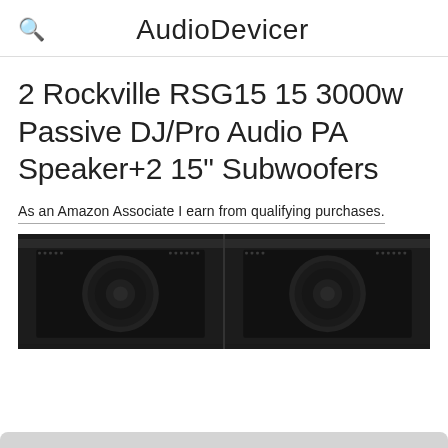AudioDevicer
2 Rockville RSG15 15 3000w Passive DJ/Pro Audio PA Speaker+2 15" Subwoofers
As an Amazon Associate I earn from qualifying purchases.
[Figure (photo): Two large black Rockville RSG15 PA speakers/subwoofers shown side by side]
As an Amazon Associate I earn from qualifying purchases. This website uses the only necessary cookies to ensure you get the best experience on our website. More information